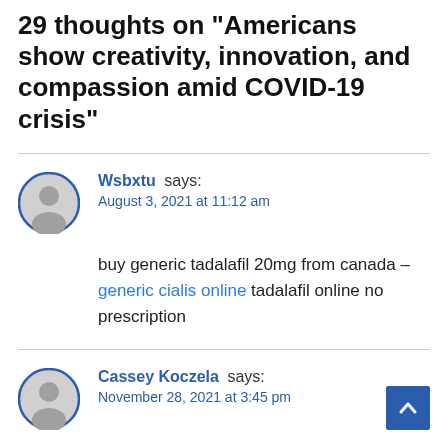29 thoughts on “Americans show creativity, innovation, and compassion amid COVID-19 crisis”
Wsbxtu says:
August 3, 2021 at 11:12 am
buy generic tadalafil 20mg from canada – generic cialis online tadalafil online no prescription
Cassey Koczela says:
November 28, 2021 at 3:45 pm
Hey there! Quick question that’s